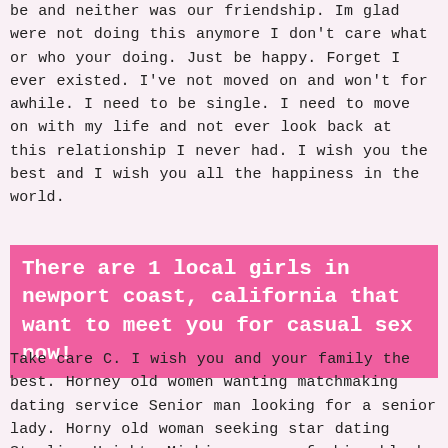be and neither was our friendship. Im glad were not doing this anymore I don't care what or who your doing. Just be happy. Forget I ever existed. I've not moved on and won't for awhile. I need to be single. I need to move on with my life and not ever look back at this relationship I never had. I wish you the best and I wish you all the happiness in the world.
There are 1 local girls in newport coast, california that want to meet you for casual sex now!
Take care C. I wish you and your family the best. Horney old women wanting matchmaking dating service Senior man looking for a senior lady. Horny old woman seeking star dating Sterling Heights Michigan women fucking black cock. Looking to